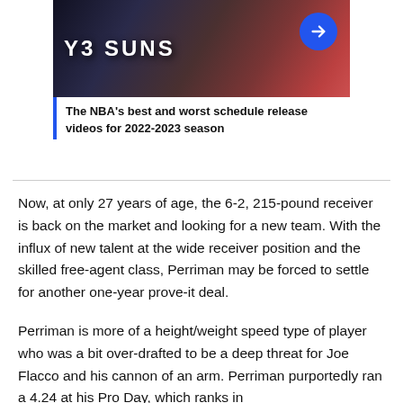[Figure (photo): Basketball game image showing players and crowd, with Suns branding visible and a blue arrow button overlay]
The NBA's best and worst schedule release videos for 2022-2023 season
Now, at only 27 years of age, the 6-2, 215-pound receiver is back on the market and looking for a new team. With the influx of new talent at the wide receiver position and the skilled free-agent class, Perriman may be forced to settle for another one-year prove-it deal.
Perriman is more of a height/weight speed type of player who was a bit over-drafted to be a deep threat for Joe Flacco and his cannon of an arm. Perriman purportedly ran a 4.24 at his Pro Day, which ranks in